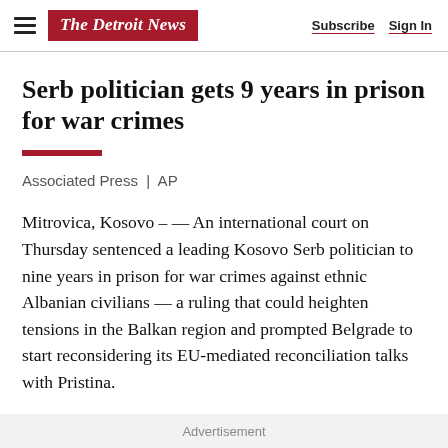The Detroit News | Subscribe | Sign In
Serb politician gets 9 years in prison for war crimes
Associated Press | AP
Mitrovica, Kosovo – — An international court on Thursday sentenced a leading Kosovo Serb politician to nine years in prison for war crimes against ethnic Albanian civilians — a ruling that could heighten tensions in the Balkan region and prompted Belgrade to start reconsidering its EU-mediated reconciliation talks with Pristina.
Advertisement